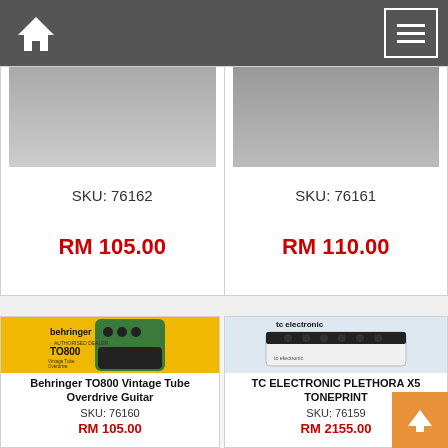Navigation bar with home and menu icons
SKU: 76162
RM 105.00
SKU: 76161
RM 110.00
[Figure (photo): Behringer TO800 Vintage Tube Overdrive Guitar pedal product image with yellow background, Behringer authorised dealer badge]
Behringer TO800 Vintage Tube Overdrive Guitar
SKU: 76160
RM 105.00
[Figure (photo): TC Electronic Plethora X5 Toneprint multi-effects pedal product image, white unit with knobs]
TC ELECTRONIC PLETHORA X5 TONEPRINT
SKU: 76159
RM 2155.00